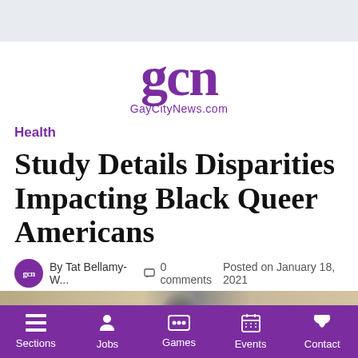[Figure (logo): GCN GayCityNews.com logo in purple serif font]
Health
Study Details Disparities Impacting Black Queer Americans
By Tat Bellamy-W...  0 comments  Posted on January 18, 2021
[Figure (photo): Partial photo strip at bottom of article area]
Sections  Jobs  Games  Events  Contact